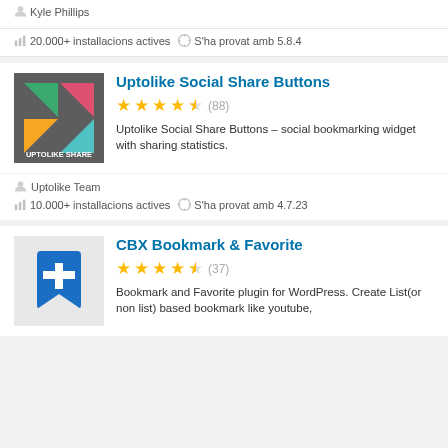Kyle Phillips
20.000+ installacions actives  S'ha provat amb 5.8.4
Uptolike Social Share Buttons
★★★★½ (88)
Uptolike Social Share Buttons – social bookmarking widget with sharing statistics.
Uptolike Team
10.000+ installacions actives  S'ha provat amb 4.7.23
CBX Bookmark & Favorite
★★★★½ (37)
Bookmark and Favorite plugin for WordPress. Create List(or non list) based bookmark like youtube,